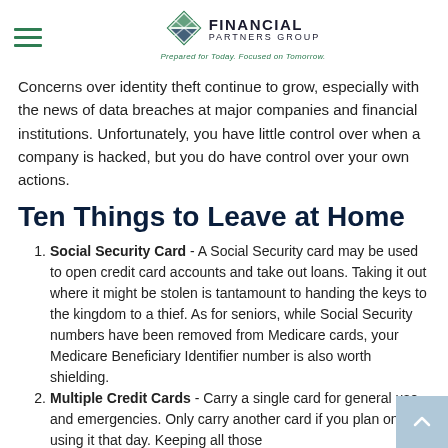Financial Partners Group — Prepared for Today. Focused on Tomorrow.
Concerns over identity theft continue to grow, especially with the news of data breaches at major companies and financial institutions. Unfortunately, you have little control over when a company is hacked, but you do have control over your own actions.
Ten Things to Leave at Home
Social Security Card - A Social Security card may be used to open credit card accounts and take out loans. Taking it out where it might be stolen is tantamount to handing the keys to the kingdom to a thief. As for seniors, while Social Security numbers have been removed from Medicare cards, your Medicare Beneficiary Identifier number is also worth shielding.
Multiple Credit Cards - Carry a single card for general use and emergencies. Only carry another card if you plan on using it that day. Keeping all those